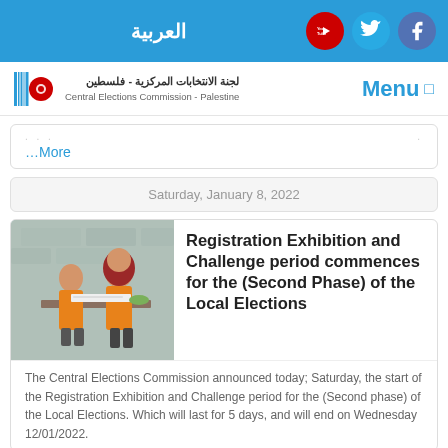العربية
[Figure (logo): Central Elections Commission - Palestine logo with Arabic and English text]
Menu
...More
Saturday, January 8, 2022
Registration Exhibition and Challenge period commences for the (Second Phase) of the Local Elections
[Figure (photo): Two election workers in orange vests reviewing documents at a table]
The Central Elections Commission announced today; Saturday, the start of the Registration Exhibition and Challenge period for the (Second phase) of the Local Elections. Which will last for 5 days, and will end on Wednesday 12/01/2022.